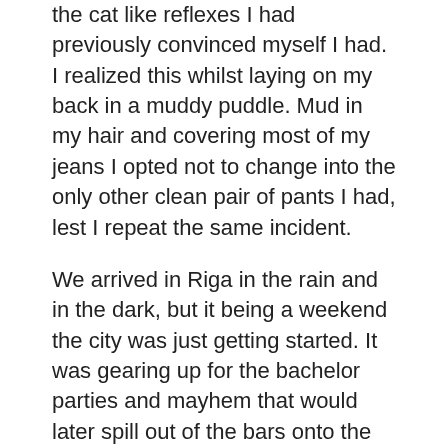the cat like reflexes I had previously convinced myself I had. I realized this whilst laying on my back in a muddy puddle. Mud in my hair and covering most of my jeans I opted not to change into the only other clean pair of pants I had, lest I repeat the same incident.
We arrived in Riga in the rain and in the dark, but it being a weekend the city was just getting started. It was gearing up for the bachelor parties and mayhem that would later spill out of the bars onto the main street. The city felt vibrant and full of energy. The following morning I joined.... you guessed it....a walking tour of the Old Town. Riga is known to have one of the largest amounts of Art Nouveau architecture in the world. I'm a big fan of this style of architecture and I had a great time walking out of the Old Town to the nearby neighbourhoods where the vast majority of these buildings are located. The Old Town of Riga though is lovely. The alleys are cobble stoned and quaint, there are